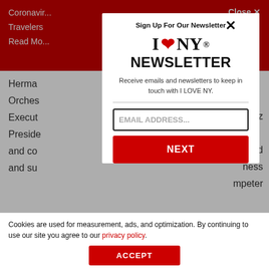Coronavirus ... Travelers Read Mo... Close ✕
Herma... zz Orches... Execut... and Preside... ness and co... mpeter and su...
[Figure (screenshot): I Love NY Newsletter signup modal popup with email address input field and NEXT button. Contains 'I ❤ NY' logo, NEWSLETTER heading, description text, EMAIL ADDRESS... input, and red NEXT button.]
Cookies are used for measurement, ads, and optimization. By continuing to use our site you agree to our privacy policy.
ACCEPT